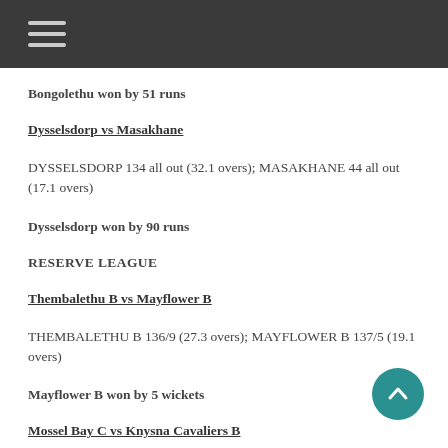≡ (hamburger menu)
Bongolethu won by 51 runs
Dysselsdorp vs Masakhane
DYSSELSDORP 134 all out (32.1 overs); MASAKHANE 44 all out (17.1 overs)
Dysselsdorp won by 90 runs
RESERVE LEAGUE
Thembalethu B vs Mayflower B
THEMBALETHU B 136/9 (27.3 overs); MAYFLOWER B 137/5 (19.1 overs)
Mayflower B won by 5 wickets
Mossel Bay C vs Knysna Cavaliers B